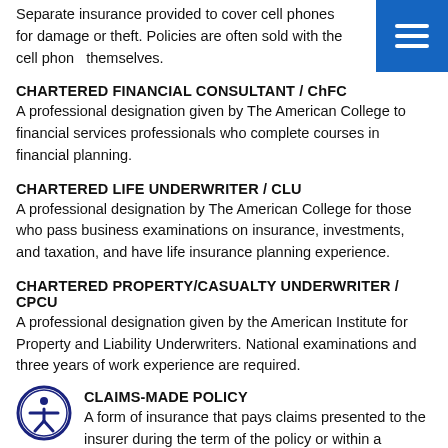Separate insurance provided to cover cell phones for damage or theft. Policies are often sold with the cell phones themselves.
CHARTERED FINANCIAL CONSULTANT / ChFC
A professional designation given by The American College to financial services professionals who complete courses in financial planning.
CHARTERED LIFE UNDERWRITER / CLU
A professional designation by The American College for those who pass business examinations on insurance, investments, and taxation, and have life insurance planning experience.
CHARTERED PROPERTY/CASUALTY UNDERWRITER / CPCU
A professional designation given by the American Institute for Property and Liability Underwriters. National examinations and three years of work experience are required.
CLAIMS-MADE POLICY
A form of insurance that pays claims presented to the insurer during the term of the policy or within a specific term